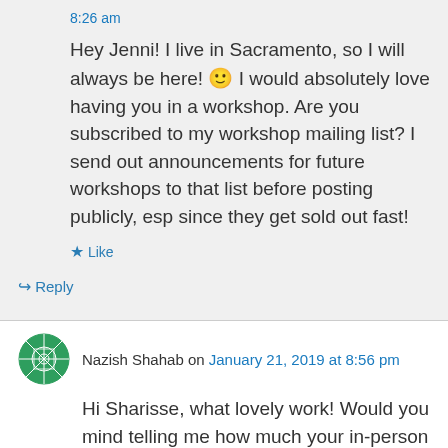8:26 am
Hey Jenni! I live in Sacramento, so I will always be here! 🙂 I would absolutely love having you in a workshop. Are you subscribed to my workshop mailing list? I send out announcements for future workshops to that list before posting publicly, esp since they get sold out fast!
★ Like
↪ Reply
Nazish Shahab on January 21, 2019 at 8:56 pm
Hi Sharisse, what lovely work! Would you mind telling me how much your in-person sessions